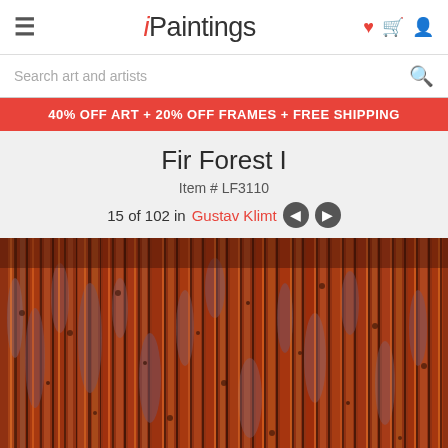iPaintings
Search art and artists
40% OFF ART + 20% OFF FRAMES + FREE SHIPPING
Fir Forest I
Item # LF3110
15 of 102 in Gustav Klimt
[Figure (photo): Gustav Klimt's Fir Forest I painting showing dense vertical tree trunks in shades of red, orange, and brown with purple-gray shadows]